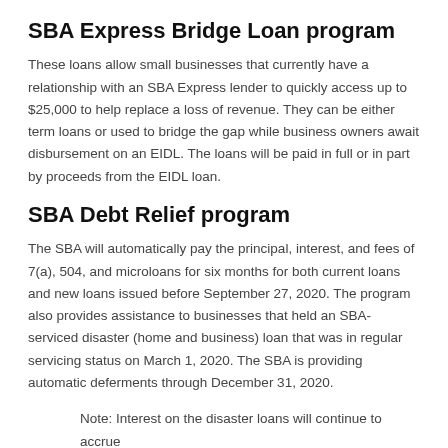SBA Express Bridge Loan program
These loans allow small businesses that currently have a relationship with an SBA Express lender to quickly access up to $25,000 to help replace a loss of revenue. They can be either term loans or used to bridge the gap while business owners await disbursement on an EIDL. The loans will be paid in full or in part by proceeds from the EIDL loan.
SBA Debt Relief program
The SBA will automatically pay the principal, interest, and fees of 7(a), 504, and microloans for six months for both current loans and new loans issued before September 27, 2020. The program also provides assistance to businesses that held an SBA-serviced disaster (home and business) loan that was in regular servicing status on March 1, 2020. The SBA is providing automatic deferments through December 31, 2020.
Note: Interest on the disaster loans will continue to accrue